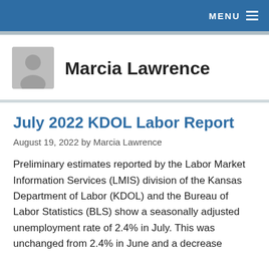MENU
[Figure (illustration): Gray avatar/profile placeholder icon showing a generic person silhouette]
Marcia Lawrence
July 2022 KDOL Labor Report
August 19, 2022 by Marcia Lawrence
Preliminary estimates reported by the Labor Market Information Services (LMIS) division of the Kansas Department of Labor (KDOL) and the Bureau of Labor Statistics (BLS) show a seasonally adjusted unemployment rate of 2.4% in July. This was unchanged from 2.4% in June and a decrease